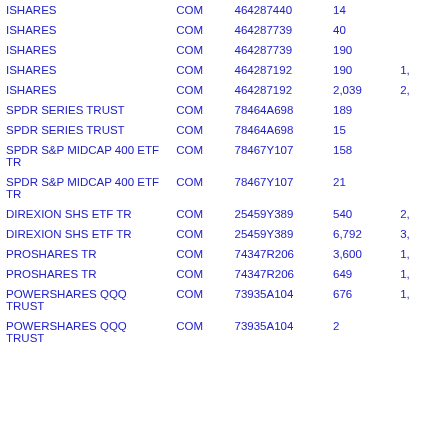| Name | Type | CUSIP/ID | Shares | Value |
| --- | --- | --- | --- | --- |
| ISHARES | COM | 464287440 | 14 |  |
| ISHARES | COM | 464287739 | 40 |  |
| ISHARES | COM | 464287739 | 190 |  |
| ISHARES | COM | 464287192 | 190 | 1, |
| ISHARES | COM | 464287192 | 2,039 | 2, |
| SPDR SERIES TRUST | COM | 78464A698 | 189 |  |
| SPDR SERIES TRUST | COM | 78464A698 | 15 |  |
| SPDR S&P MIDCAP 400 ETF TR | COM | 78467Y107 | 158 |  |
| SPDR S&P MIDCAP 400 ETF TR | COM | 78467Y107 | 21 |  |
| DIREXION SHS ETF TR | COM | 25459Y389 | 540 | 2, |
| DIREXION SHS ETF TR | COM | 25459Y389 | 6,792 | 3, |
| PROSHARES TR | COM | 74347R206 | 3,600 | 1, |
| PROSHARES TR | COM | 74347R206 | 649 | 1, |
| POWERSHARES QQQ TRUST | COM | 73935A104 | 676 | 1, |
| POWERSHARES QQQ TRUST | COM | 73935A104 | 2 |  |